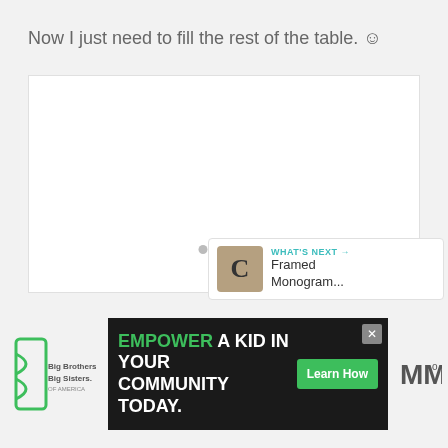Now I just need to fill the rest of the table. ☺
[Figure (screenshot): White content area box, mostly empty, with three small gray dots in the center-lower area indicating loading or pagination.]
[Figure (infographic): Teal circular heart/like button with count 552 below it, and a white circular share button below that, on the right sidebar.]
[Figure (infographic): WHAT'S NEXT panel with a brown/tan thumbnail showing letter C and text 'Framed Monogram...']
[Figure (infographic): Bottom advertisement bar: Big Brothers Big Sisters logo on left, dark banner with 'EMPOWER A KID IN YOUR COMMUNITY TODAY.' and green Learn How button, and right logo area with stylized M icon.]